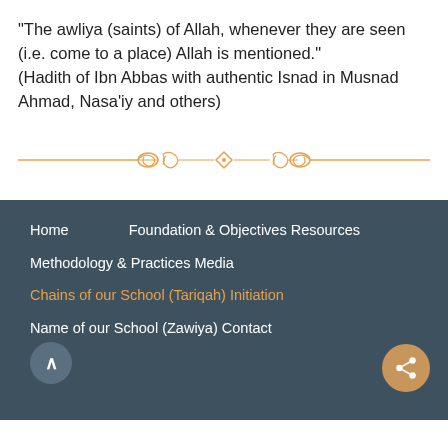“The awliya (saints) of Allah, whenever they are seen (i.e. come to a place) Allah is mentioned.” (Hadith of Ibn Abbas with authentic Isnad in Musnad Ahmad, Nasa’iy and others)
[Figure (illustration): Decorative golden/orange ornamental divider with symmetrical scroll and diamond motif in the center, with horizontal lines extending outward]
Home    Foundation & Objectives Resources
Methodology & Practices Media
Chains of our School (Tariqah) Initiation
Name of our School (Zawiya) Contact